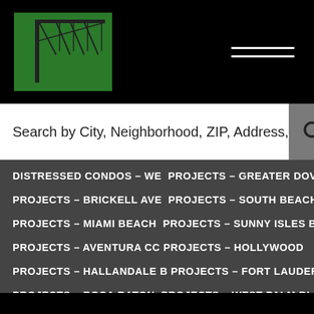[Figure (logo): Green and black construction crane logo on black background]
Search by City, Neighborhood, ZIP, Address,
DISTRESSED CONDOS – WE   PROJECTS – GREATER DOV
PROJECTS – BRICKELL AVE   PROJECTS – SOUTH BEACH
PROJECTS – MIAMI BEACH   PROJECTS – SUNNY ISLES B
PROJECTS – AVENTURA CO   PROJECTS – HOLLYWOOD
PROJECTS – HALLANDALE B   PROJECTS – FORT LAUDER
PROJECTS – BOCA RATON   PROJECTS – WEST PALM BI